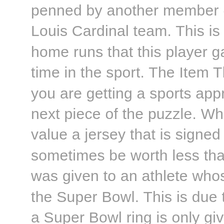penned by another member of the Saint Louis Cardinal team. This is due to the home runs that this player gained during his time in the sport. The Item The items that you are getting a sports appraisal for is the next piece of the puzzle. When it comes to value a jersey that is signed by a player will sometimes be worth less than a ring that was given to an athlete whose team won the Super Bowl. This is due to the fact that a Super Bowl ring is only given to those who won the game and made of gold and precious stones. Therefore you will need to take into consideration the actual item which is in question when placing a value on the item. The Date Check the date that is accompanied with the signature when getting a sports appraisal. Some games and years will have more significance within the sport. This will...